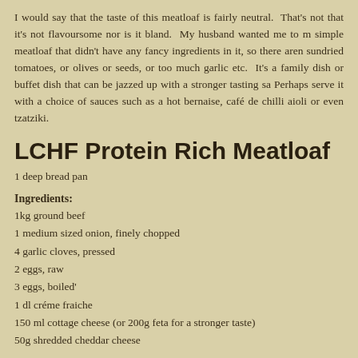I would say that the taste of this meatloaf is fairly neutral.  That's not that it's not flavoursome nor is it bland.  My husband wanted me to make a simple meatloaf that didn't have any fancy ingredients in it, so there aren't sundried tomatoes, or olives or seeds, or too much garlic etc.  It's a family dish or buffet dish that can be jazzed up with a stronger tasting sa. Perhaps serve it with a choice of sauces such as a hot bernaise, café de chilli aioli or even tzatziki.
LCHF Protein Rich Meatloaf
1 deep bread pan
Ingredients:
1kg ground beef
1 medium sized onion, finely chopped
4 garlic cloves, pressed
2 eggs, raw
3 eggs, boiled'
1 dl créme fraiche
150 ml cottage cheese (or 200g feta for a stronger taste)
50g shredded cheddar cheese